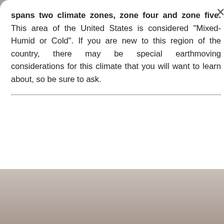spans two climate zones, zone four and zone five. This area of the United States is considered "Mixed-Humid or Cold". If you are new to this region of the country, there may be special earthmoving considerations for this climate that you will want to learn about, so be sure to ask.